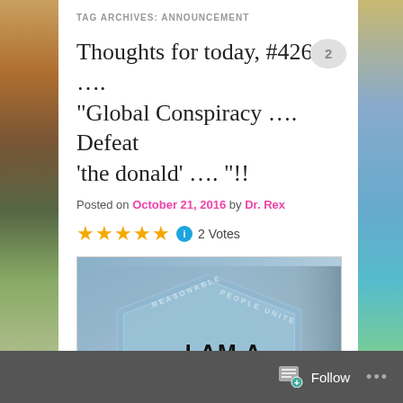TAG ARCHIVES: ANNOUNCEMENT
Thoughts for today, #426 …. "Global Conspiracy …. Defeat 'the donald' …. "!!
Posted on October 21, 2016 by Dr. Rex
★★★★★  2 Votes
[Figure (photo): Image showing a hexagonal badge with text 'REASONABLE PEOPLE UNITE' around the border and 'I AM A PROUD MEMBER' in the center, overlaid on a blue-tinted face photo]
Follow